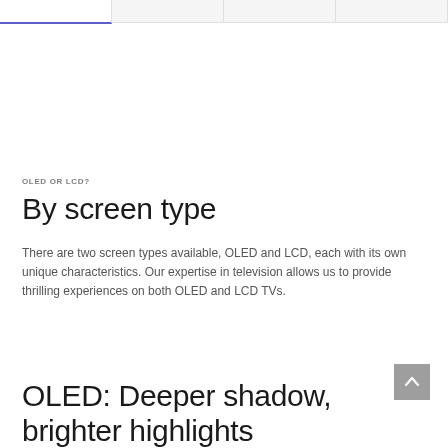OLED OR LCD?
By screen type
There are two screen types available, OLED and LCD, each with its own unique characteristics. Our expertise in television allows us to provide thrilling experiences on both OLED and LCD TVs.
OLED: Deeper shadow, brighter highlights